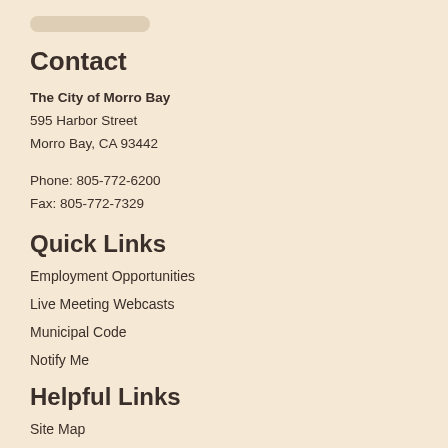[Figure (logo): City of Morro Bay logo (blurred/faint at top)]
Contact
The City of Morro Bay
595 Harbor Street
Morro Bay, CA 93442
Phone: 805-772-6200
Fax: 805-772-7329
Quick Links
Employment Opportunities
Live Meeting Webcasts
Municipal Code
Notify Me
Helpful Links
Site Map